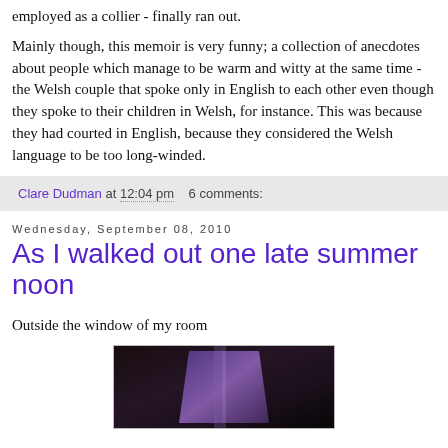employed as a collier - finally ran out.
Mainly though, this memoir is very funny; a collection of anecdotes about people which manage to be warm and witty at the same time - the Welsh couple that spoke only in English to each other even though they spoke to their children in Welsh, for instance. This was because they had courted in English, because they considered the Welsh language to be too long-winded.
Clare Dudman at 12:04 pm    6 comments:
Wednesday, September 08, 2010
As I walked out one late summer noon
Outside the window of my room
[Figure (photo): Dark photograph showing what appears to be a window or doorway with purple/violet tones against a dark background]